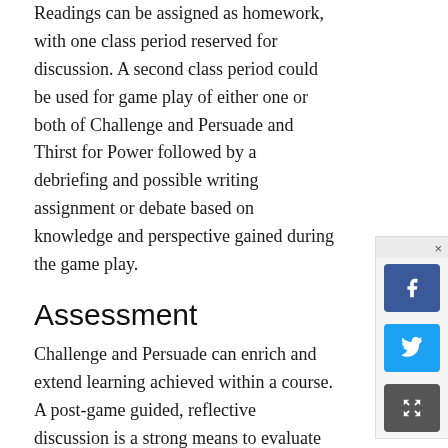Readings can be assigned as homework, with one class period reserved for discussion. A second class period could be used for game play of either one or both of Challenge and Persuade and Thirst for Power followed by a debriefing and possible writing assignment or debate based on knowledge and perspective gained during the game play.
Assessment
Challenge and Persuade can enrich and extend learning achieved within a course. A post-game guided, reflective discussion is a strong means to evaluate content and concepts learned. A quiz or writing assignment could also assess the degree to which concepts integral to the game have been learned. The types of learning outcomes expected involve a systems-level understanding of the intricacies and interrelationships of energy, water, and climate issues.